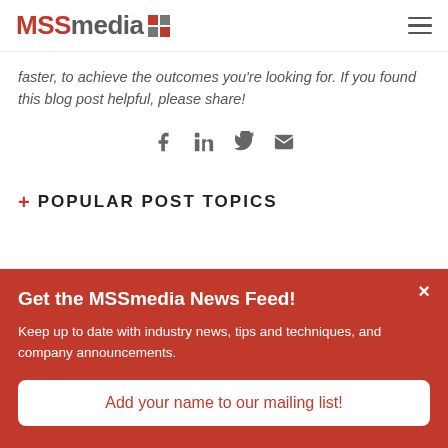[Figure (logo): MSSMedia logo with red MSS, gray media text and red/gray grid icon]
faster, to achieve the outcomes you’re looking for. If you found this blog post helpful, please share!
[Figure (other): Social share icons: Facebook, LinkedIn, Twitter, Email]
+ POPULAR POST TOPICS
Get the MSSmedia News Feed!
Keep up to date with industry news, tips and techniques, and company announcements.
Add your name to our mailing list!